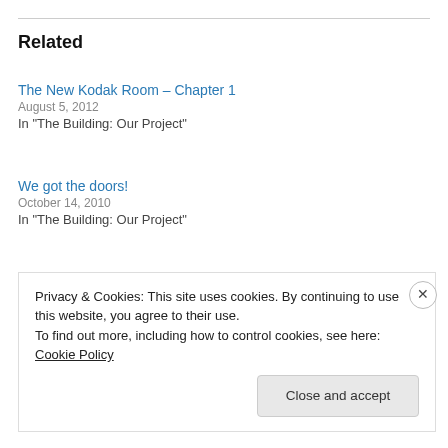Related
The New Kodak Room – Chapter 1
August 5, 2012
In "The Building: Our Project"
We got the doors!
October 14, 2010
In "The Building: Our Project"
Plumbing fixtures
January 25, 2022
In "Stuff"
Privacy & Cookies: This site uses cookies. By continuing to use this website, you agree to their use.
To find out more, including how to control cookies, see here: Cookie Policy